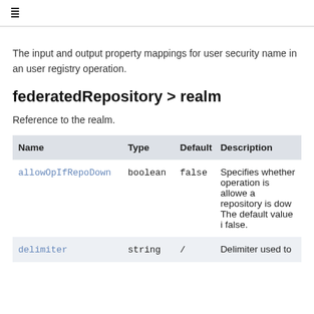≡ (table of contents icon)
The input and output property mappings for user security name in an user registry operation.
federatedRepository > realm
Reference to the realm.
| Name | Type | Default | Description |
| --- | --- | --- | --- |
| allowOpIfRepoDown | boolean | false | Specifies whether operation is allowed a repository is down. The default value is false. |
| delimiter | string | / | Delimiter used to |